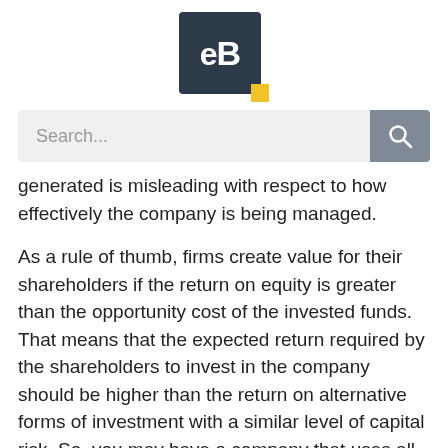[Figure (logo): eB logo — dark navy square with white 'eB' text and a yellow accent square in the bottom-right corner]
[Figure (screenshot): Search bar UI element with placeholder text 'Search...' and a grey search button with magnifying glass icon]
generated is misleading with respect to how effectively the company is being managed.
As a rule of thumb, firms create value for their shareholders if the return on equity is greater than the opportunity cost of the invested funds. That means that the expected return required by the shareholders to invest in the company should be higher than the return on alternative forms of investment with a similar level of capital risk. So, you may have a company that uses all its net income, borrows more money than it has raised by its stock offerings, buy